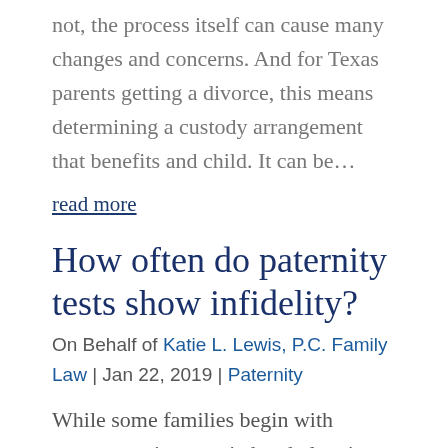not, the process itself can cause many changes and concerns. And for Texas parents getting a divorce, this means determining a custody arrangement that benefits and child. It can be…
read more
How often do paternity tests show infidelity?
On Behalf of Katie L. Lewis, P.C. Family Law | Jan 22, 2019 | Paternity
While some families begin with parents getting married and planning to have